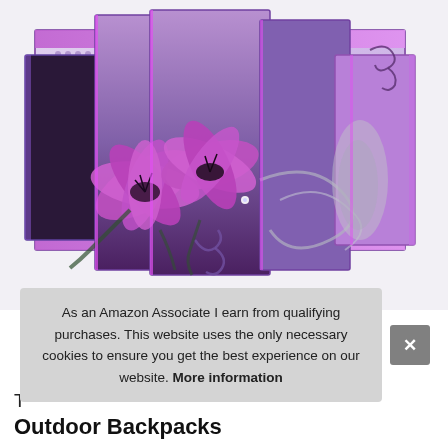[Figure (photo): A multi-panel abstract canvas wall art featuring large purple/magenta lily flowers on a purple and silver gradient background with decorative swirl patterns, displayed as five separate canvas panels arranged in a staggered layout]
As an Amazon Associate I earn from qualifying purchases. This website uses the only necessary cookies to ensure you get the best experience on our website. More information
T
Outdoor Backpacks